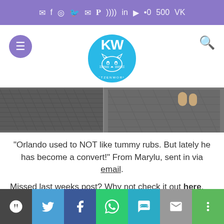Social icons bar (email, facebook, instagram, twitter, pinterest, RSS, linkedin, youtube, dots, 500px, VK)
[Figure (logo): Katzenworld blog logo — circular teal badge with cat face and 'KW' letters]
[Figure (photo): Photo strip showing grey textured mat on left half and cat paws on grey mat on right half]
“Orlando used to NOT like tummy rubs. But lately he has become a convert!” From Marylu, sent in via email.
Missed last weeks post? Why not check it out here.
Share bar: WordPress, Twitter, Facebook, WhatsApp, SMS, Email, More